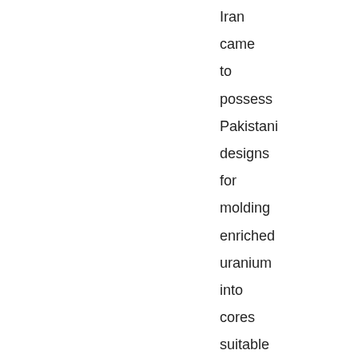Iran came to possess Pakistani designs for molding enriched uranium into cores suitable for bombs. But Mr ElBaradei's freelancing has two major consequences. One is to allow the Iranian government